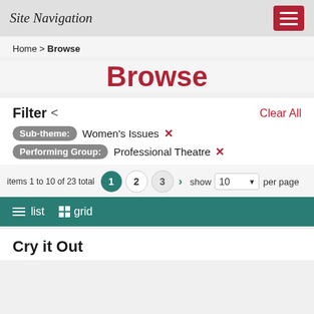Site Navigation
Home > Browse
Browse
Filter <
Clear All
Sub-theme: Women's Issues ✕
Performing Group: Professional Theatre ✕
items 1 to 10 of 23 total | 1 2 3 > show 10 per page
≡ list  grid
Cry it Out